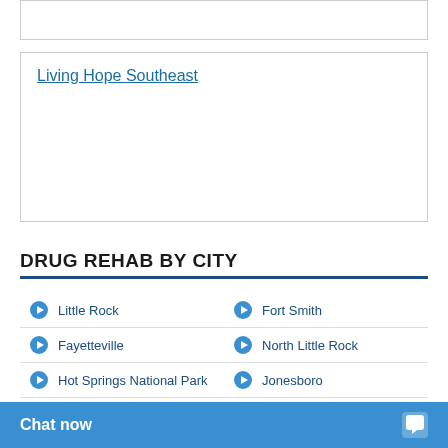Living Hope Southeast
DRUG REHAB BY CITY
Little Rock
Fort Smith
Fayetteville
North Little Rock
Hot Springs National Park
Jonesboro
Conway
Springdale
Pine Bluff
Rogers
Benton
Jacksonville
El Dorado
Russellville
Texarkana
Paragould
Searcy
Van Buren
Harrison
Chat now